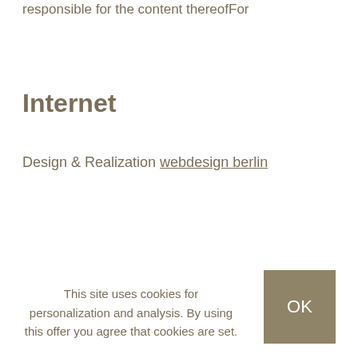responsible for the content thereofFor
Internet
Design & Realization webdesign berlin
This site uses cookies for personalization and analysis. By using this offer you agree that cookies are set.
OK